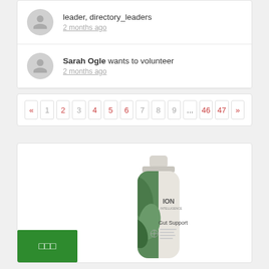leader, directory_leaders
2 months ago
Sarah Ogle wants to volunteer
2 months ago
« 1 2 3 4 5 6 7 8 9 ... 46 47 »
[Figure (photo): ION Gut Support supplement bottle, light beige/cream color with green leaf design and label text]